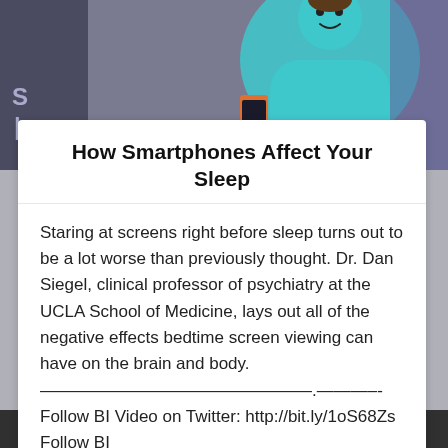[Figure (illustration): Animated illustration of a person holding a smartphone before sleep, with teal and purple background colors and a cartoon character figure]
How Smartphones Affect Your Sleep
Staring at screens right before sleep turns out to be a lot worse than previously thought. Dr. Dan Siegel, clinical professor of psychiatry at the UCLA School of Medicine, lays out all of the negative effects bedtime screen viewing can have on the brain and body. ————————————————.———–- Follow BI Video on Twitter: http://bit.ly/1oS68Zs Follow BI
… read more